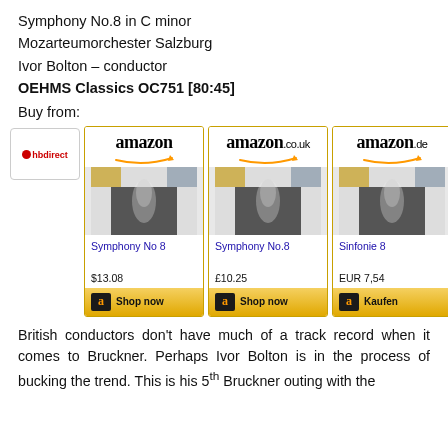Symphony No.8 in C minor
Mozarteumorchester Salzburg
Ivor Bolton – conductor
OEHMS Classics OC751 [80:45]
Buy from:
[Figure (screenshot): Three Amazon store links (amazon.com, amazon.co.uk, amazon.de) each showing a CD product listing for Symphony No 8 / Sinfonie 8 with prices $13.08, £10.25, EUR 7,54 and a hbdirect logo button on the left.]
British conductors don't have much of a track record when it comes to Bruckner. Perhaps Ivor Bolton is in the process of bucking the trend. This is his 5th Bruckner outing with the